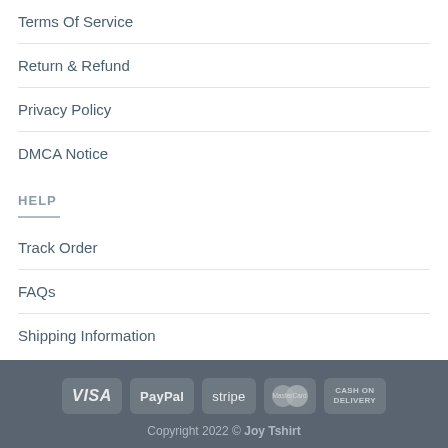Terms Of Service
Return & Refund
Privacy Policy
DMCA Notice
HELP
Track Order
FAQs
Shipping Information
[Figure (infographic): Payment method icons: VISA, PayPal, stripe, MasterCard, CASH ON DELIVERY]
Copyright 2022 © Joy Tshirt